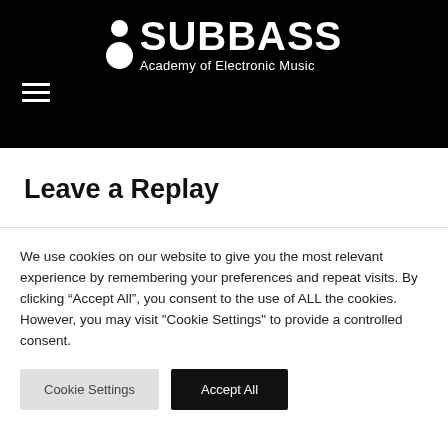[Figure (logo): SubBass Academy of Electronic Music logo with two white circles and white text on black background]
Leave a Replay
We use cookies on our website to give you the most relevant experience by remembering your preferences and repeat visits. By clicking “Accept All”, you consent to the use of ALL the cookies. However, you may visit "Cookie Settings" to provide a controlled consent.